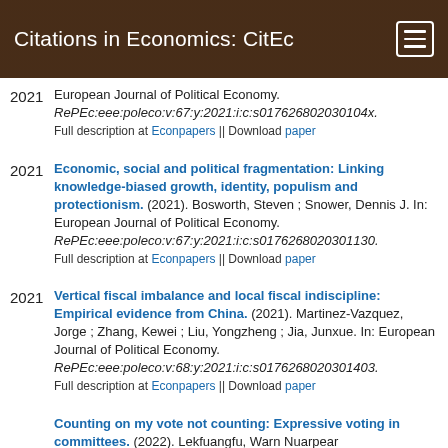Citations in Economics: CitEc
2021 European Journal of Political Economy. RePEc:eee:poleco:v:67:y:2021:i:c:s017626802030104x. Full description at Econpapers || Download paper
2021 Economic, social and political fragmentation: Linking knowledge-biased growth, identity, populism and protectionism. (2021). Bosworth, Steven ; Snower, Dennis J. In: European Journal of Political Economy. RePEc:eee:poleco:v:67:y:2021:i:c:s0176268020301130. Full description at Econpapers || Download paper
2021 Vertical fiscal imbalance and local fiscal indiscipline: Empirical evidence from China. (2021). Martinez-Vazquez, Jorge ; Zhang, Kewei ; Liu, Yongzheng ; Jia, Junxue. In: European Journal of Political Economy. RePEc:eee:poleco:v:68:y:2021:i:c:s0176268020301403. Full description at Econpapers || Download paper
Counting on my vote not counting: Expressive voting in committees. (2022). Lekfuangfu, Warn Nuarpear